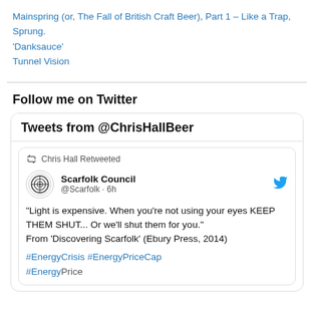Mainspring (or, The Fall of British Craft Beer), Part 1 – Like a Trap, Sprung.
'Danksauce'
Tunnel Vision
Follow me on Twitter
[Figure (screenshot): Embedded Twitter widget showing tweets from @ChrisHallBeer. Includes a retweet by Chris Hall from Scarfolk Council (@Scarfolk · 6h) with text: "Light is expensive. When you're not using your eyes KEEP THEM SHUT... Or we'll shut them for you." From 'Discovering Scarfolk' (Ebury Press, 2014) #EnergyCrisis #EnergyPriceCap #EnergyPrice]